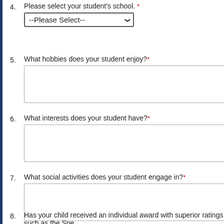4. Please select your student's school. *
5. What hobbies does your student enjoy? *
6. What interests does your student have? *
7. What social activities does your student engage in? *
8. Has your child received an individual award with superior ratings such as the Spe…